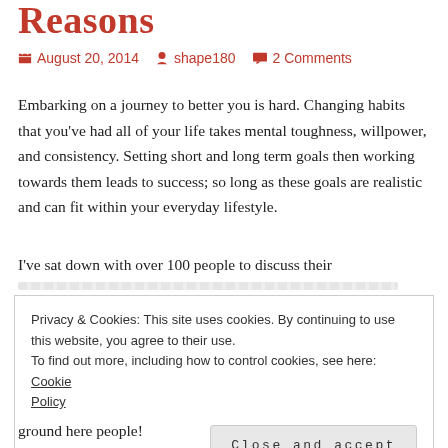Reasons
August 20, 2014   shape180   2 Comments
Embarking on a journey to better you is hard. Changing habits that you've had all of your life takes mental toughness, willpower, and consistency. Setting short and long term goals then working towards them leads to success; so long as these goals are realistic and can fit within your everyday lifestyle.
I've sat down with over 100 people to discuss their
Privacy & Cookies: This site uses cookies. By continuing to use this website, you agree to their use. To find out more, including how to control cookies, see here: Cookie Policy   Close and accept
ground here people!